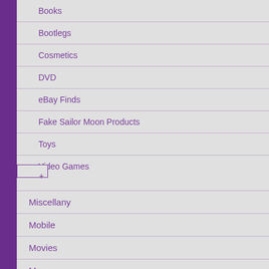Books
Bootlegs
Cosmetics
DVD
eBay Finds
Fake Sailor Moon Products
Toys
Video Games
Miscellany
Mobile
Movies
Museums
Music
Musicals
Myths
Nana Akiyama
Naoko Takeuchi